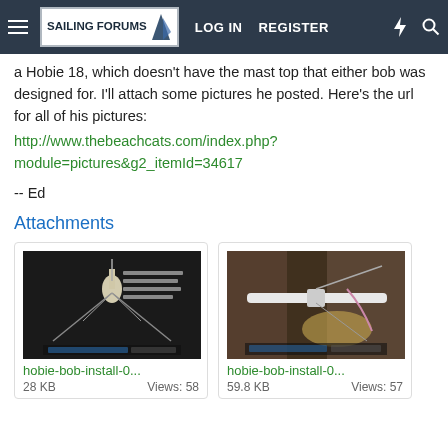Sailing Forums | LOG IN | REGISTER
a Hobie 18, which doesn't have the mast top that either bob was designed for. I'll attach some pictures he posted. Here's the url for all of his pictures:
http://www.thebeachcats.com/index.php?module=pictures&g2_itemId=34617
-- Ed
Attachments
[Figure (photo): Thumbnail photo of hobie bob installation, dark background with rigging hardware visible. TheBeachcats.com watermark.]
hobie-bob-install-0...
28 KB    Views: 58
[Figure (photo): Thumbnail photo of hobie bob installation on boat, outdoor scene with rigging and trees visible. TheBeachcats.com watermark.]
hobie-bob-install-0...
59.8 KB    Views: 57